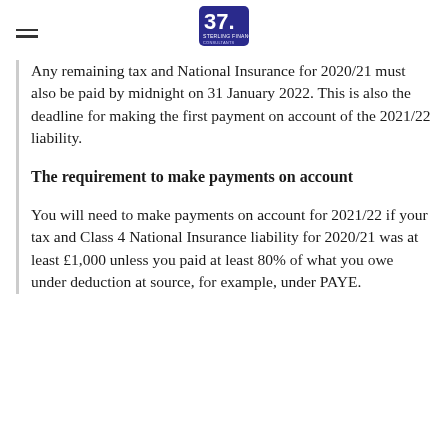Sterling Finance logo
Any remaining tax and National Insurance for 2020/21 must also be paid by midnight on 31 January 2022. This is also the deadline for making the first payment on account of the 2021/22 liability.
The requirement to make payments on account
You will need to make payments on account for 2021/22 if your tax and Class 4 National Insurance liability for 2020/21 was at least £1,000 unless you paid at least 80% of what you owe under deduction at source, for example, under PAYE.